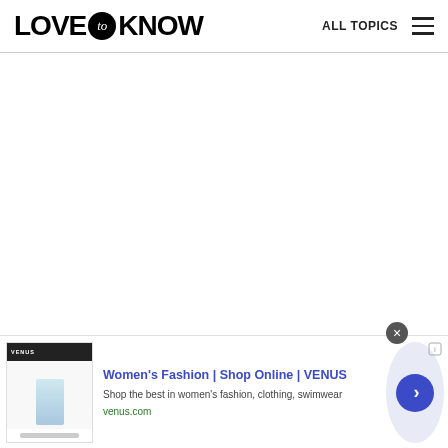LOVE to KNOW — ALL TOPICS
[Figure (other): Large blank white content area]
[Figure (screenshot): Advertisement banner at bottom: Women's Fashion | Shop Online | VENUS — Shop the best in women's fashion, clothing, swimwear — venus.com, with close button and navigation arrow]